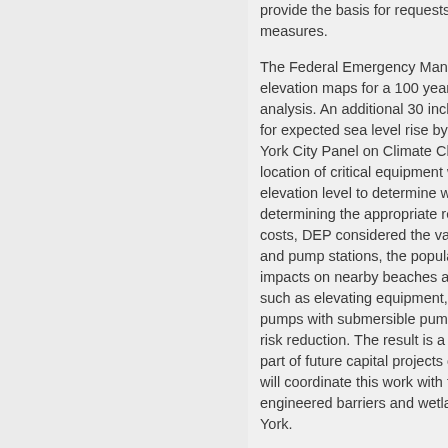provide the basis for requests to measures.
The Federal Emergency Management elevation maps for a 100 year flo analysis. An additional 30 inches for expected sea level rise by the York City Panel on Climate Chan location of critical equipment wer elevation level to determine whic determining the appropriate resili costs, DEP considered the value and pump stations, the populatio impacts on nearby beaches and such as elevating equipment, wa pumps with submersible pumps, risk reduction. The result is a por part of future capital projects or a will coordinate this work with the engineered barriers and wetlands York.
At two facilities already in the mi Pump Stations, DEP has already